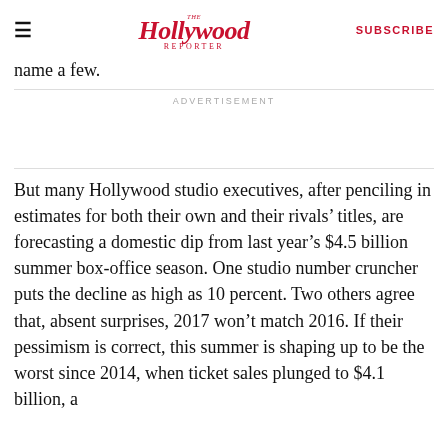The Hollywood Reporter | SUBSCRIBE
name a few.
ADVERTISEMENT
But many Hollywood studio executives, after penciling in estimates for both their own and their rivals’ titles, are forecasting a domestic dip from last year’s $4.5 billion summer box-office season. One studio number cruncher puts the decline as high as 10 percent. Two others agree that, absent surprises, 2017 won’t match 2016. If their pessimism is correct, this summer is shaping up to be the worst since 2014, when ticket sales plunged to $4.1 billion, a